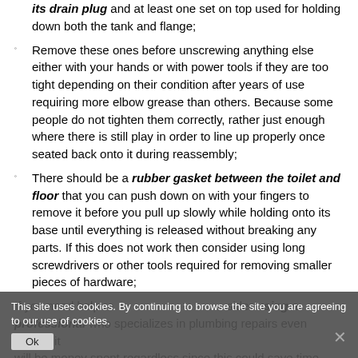its drain plug and at least one set on top used for holding down both the tank and flange;
Remove these ones before unscrewing anything else either with your hands or with power tools if they are too tight depending on their condition after years of use requiring more elbow grease than others. Because some people do not tighten them correctly, rather just enough where there is still play in order to line up properly once seated back onto it during reassembly;
There should be a rubber gasket between the toilet and floor that you can push down on with your fingers to remove it before you pull up slowly while holding onto its base until everything is released without breaking any parts. If this does not work then consider using long screwdrivers or other tools required for removing smaller pieces of hardware;
If you need help removing the toilet, consider using a professional who specializes in plumbing repairs even though it will be money spent regardless since this could save time doing
This site uses cookies. By continuing to browse the site you are agreeing to our use of cookies.